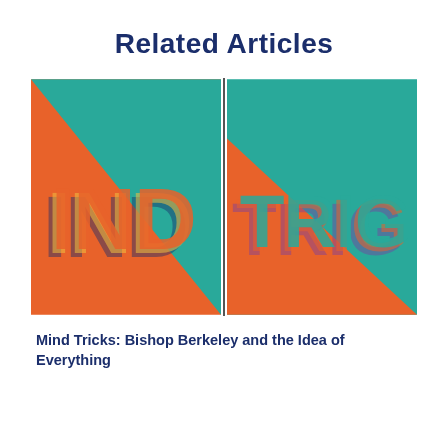Related Articles
[Figure (illustration): Split image showing two book or album covers side by side. Left cover: orange background with teal diagonal triangle, bold stylized text reading 'IND' with a layered 3D shadow effect in blue and yellow. Right cover: teal background with orange diagonal triangle at bottom-left corner, bold stylized text reading 'TRIG' with layered 3D shadow effect in orange and purple.]
Mind Tricks: Bishop Berkeley and the Idea of Everything